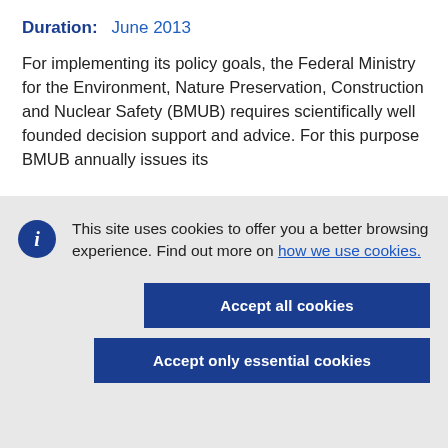Duration: June 2013
For implementing its policy goals, the Federal Ministry for the Environment, Nature Preservation, Construction and Nuclear Safety (BMUB) requires scientifically well founded decision support and advice. For this purpose BMUB annually issues its
This site uses cookies to offer you a better browsing experience. Find out more on how we use cookies.
Accept all cookies
Accept only essential cookies